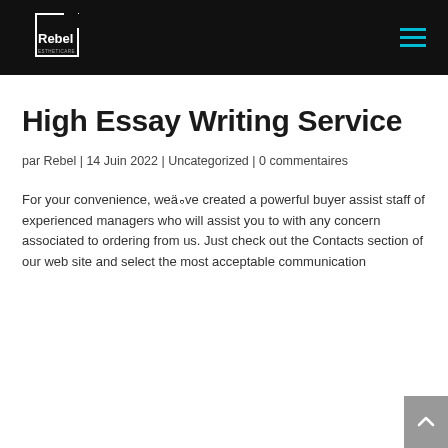Rebel [logo] | hamburger menu
High Essay Writing Service
par Rebel | 14 Juin 2022 | Uncategorized | 0 commentaires
For your convenience, weä�ve created a powerful buyer assist staff of experienced managers who will assist you to with any concern associated to ordering from us. Just check out the Contacts section of our web site and select the most acceptable communication